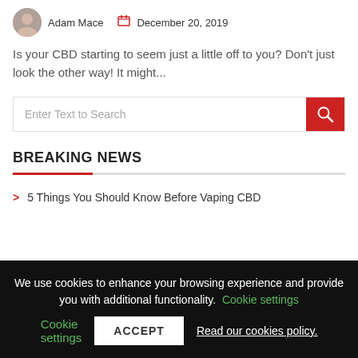Adam Mace   December 20, 2019
Is your CBD starting to seem just a little off to you? Don't just look the other way! It might...
[Figure (screenshot): Search bar with placeholder text 'Enter Text to Search' and a red search button with magnifying glass icon]
BREAKING NEWS
5 Things You Should Know Before Vaping CBD
We use cookies to enhance your browsing experience and provide you with additional functionality. Cookie settings   ACCEPT   Read our cookies policy.